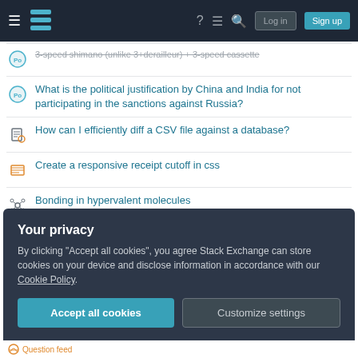Stack Exchange — Log in / Sign up
3-speed shimano (unlike 3+derailleur) + 3-speed cassette
What is the political justification by China and India for not participating in the sanctions against Russia?
How can I efficiently diff a CSV file against a database?
Create a responsive receipt cutoff in css
Bonding in hypervalent molecules
Why can't we have hardware-specific graphics APIs?
Inject parameters and an object into pipeline processor using DI
How can I type a matrix like this?
What are the requirements to get a short business visa to Spain?
Your privacy
By clicking "Accept all cookies", you agree Stack Exchange can store cookies on your device and disclose information in accordance with our Cookie Policy.
Question feed